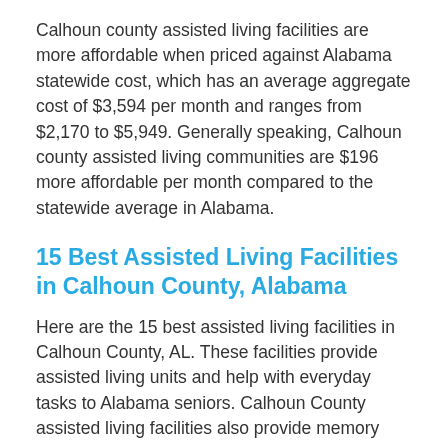Calhoun county assisted living facilities are more affordable when priced against Alabama statewide cost, which has an average aggregate cost of $3,594 per month and ranges from $2,170 to $5,949. Generally speaking, Calhoun county assisted living communities are $196 more affordable per month compared to the statewide average in Alabama.
15 Best Assisted Living Facilities in Calhoun County, Alabama
Here are the 15 best assisted living facilities in Calhoun County, AL. These facilities provide assisted living units and help with everyday tasks to Alabama seniors. Calhoun County assisted living facilities also provide memory